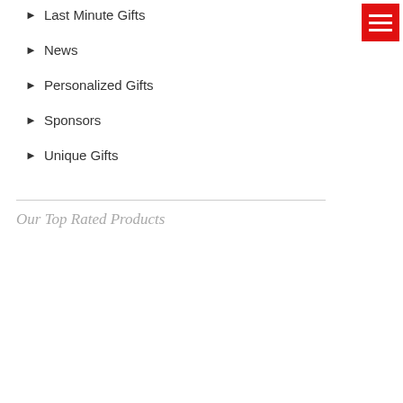Last Minute Gifts
News
Personalized Gifts
Sponsors
Unique Gifts
Our Top Rated Products
| Product | Rating |
| --- | --- |
| Black Hills Gold Silver Rose Cross Necklace | ★★★★★★ |
| Personalized Golf Link Toppers | ★★★★★★ |
| Family Word-Art Canvas #9181754X | ★★★★★ |